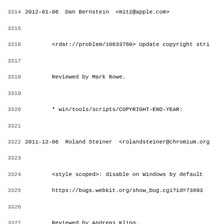Source code changelog/ChangeLog file excerpt showing git commit entries with line numbers 3314-3346